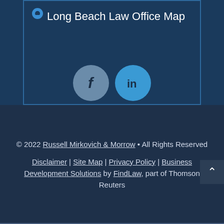[Figure (map): Long Beach Law Office Map link with location pin icon]
[Figure (other): Social media icons: Facebook and LinkedIn circular buttons]
© 2022 Russell Mirkovich & Morrow • All Rights Reserved
Disclaimer | Site Map | Privacy Policy | Business Development Solutions by FindLaw, part of Thomson Reuters